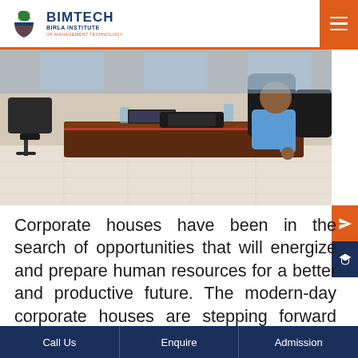BIMTECH BIRLA INSTITUTE OF MANAGEMENT TECHNOLOGY
[Figure (photo): Office/classroom setting with a person sitting at a desk with a laptop and bags, black office chairs visible, wooden desk furniture]
Corporate houses have been in the search of opportunities that will energize and prepare human resources for a better and productive future. The modern-day corporate houses are stepping forward with profitability and employee engagement as their major fo...
Call Us | Enquire | Admission